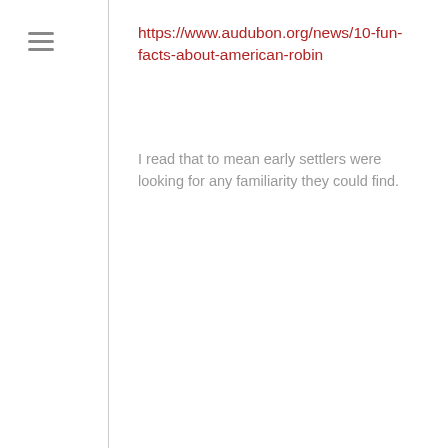https://www.audubon.org/news/10-fun-facts-about-american-robin
I read that to mean early settlers were looking for any familiarity they could find.
doesitevenmatter3 on 7May2021 at 3:18 AM   Reply   ★ Like
[Figure (photo): User avatar image showing a heartbeat/EKG line with a heart symbol, black lines on white/gray background]
Hope your travels are good and safe. I'm so happy the robins are back here....also, many other of the birds showing up in the yard and in trees, ETC. Your robin photos and vid are beautiful and fun! Robin looks clean'n'happy! (((HUGS)))